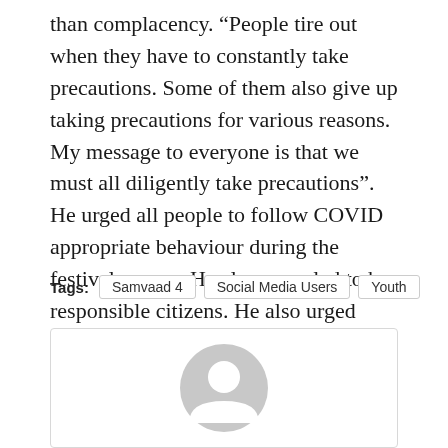than complacency. “People tire out when they have to constantly take precautions. Some of them also give up taking precautions for various reasons. My message to everyone is that we must all diligently take precautions”. He urged all people to follow COVID appropriate behaviour during the festival season. He also appealed to be responsible citizens. He also urged “each and every one of you to take ownership at your own levels: personal, society, RWA, colony, and office”.
Tags: Samvaad 4   Social Media Users   Youth
[Figure (illustration): A generic user avatar icon — a gray silhouette of a person inside a circle, inside a bordered card.]